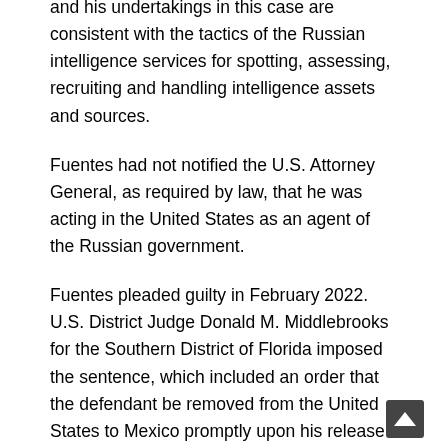and his undertakings in this case are consistent with the tactics of the Russian intelligence services for spotting, assessing, recruiting and handling intelligence assets and sources.
Fuentes had not notified the U.S. Attorney General, as required by law, that he was acting in the United States as an agent of the Russian government.
Fuentes pleaded guilty in February 2022. U.S. District Judge Donald M. Middlebrooks for the Southern District of Florida imposed the sentence, which included an order that the defendant be removed from the United States to Mexico promptly upon his release from confinement.
Assistant Attorney General Matthew G. Olsen of the Justice Department’s National Security Divisi U.S. Attorney Juan Antonio Gonzalez for the